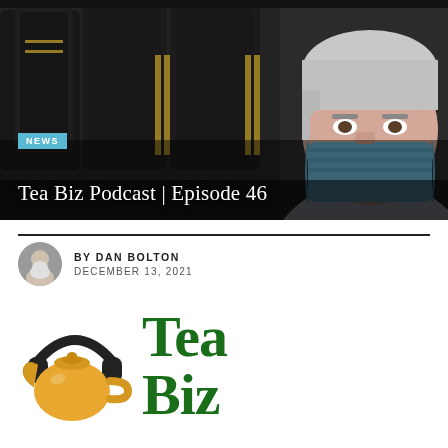[Figure (photo): Man wearing blue surgical mask seated in an airplane with dark leather seats, taken during COVID-19 pandemic]
NEWS
Tea Biz Podcast | Episode 46
BY DAN BOLTON
DECEMBER 13, 2021
[Figure (logo): Tea Biz podcast logo: yellow teapot with dark blue headphones, large green bold text reading Tea Biz]